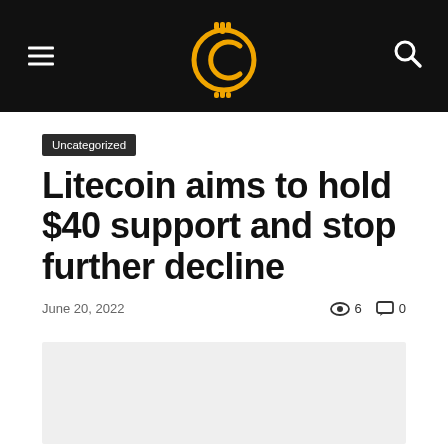Uncategorized — Litecoin crypto news site header with logo and navigation
Uncategorized
Litecoin aims to hold $40 support and stop further decline
June 20, 2022   👁 6   💬 0
[Figure (photo): Gray placeholder rectangle for article image]